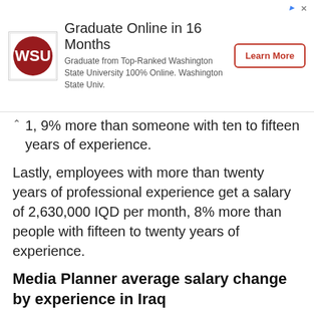[Figure (other): Advertisement banner for Washington State University online graduate program. Logo on left, title 'Graduate Online in 16 Months', subtitle text, and 'Learn More' button on right.]
1, 9% more than someone with ten to fifteen years of experience.
Lastly, employees with more than twenty years of professional experience get a salary of 2,630,000 IQD per month, 8% more than people with fifteen to twenty years of experience.
Media Planner average salary change by experience in Iraq
| Experience | Change | Salary |
| --- | --- | --- |
| 0 - 2 Years |  | 1,020,000 IQD |
| 2 - 5 Years | +31% | 1,330,000 IQD |